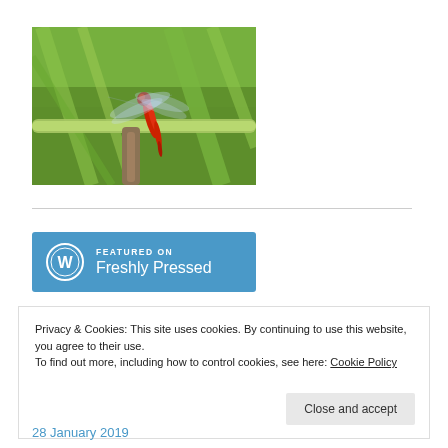[Figure (photo): A red dragonfly perched on a green grass stem against a blurred green background]
[Figure (logo): WordPress Freshly Pressed badge — blue rectangle with WordPress logo and text FEATURED ON Freshly Pressed]
Privacy & Cookies: This site uses cookies. By continuing to use this website, you agree to their use.
To find out more, including how to control cookies, see here: Cookie Policy
Close and accept
28 January 2019